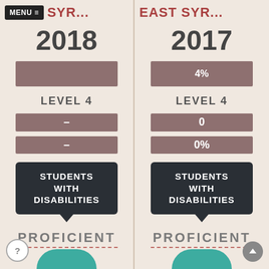MENU ≡  SYR...  2018
EAST SYR...  2017
LEVEL 4
—
—
LEVEL 4
4%
0
0%
STUDENTS WITH DISABILITIES
STUDENTS WITH DISABILITIES
PROFICIENT
PROFICIENT